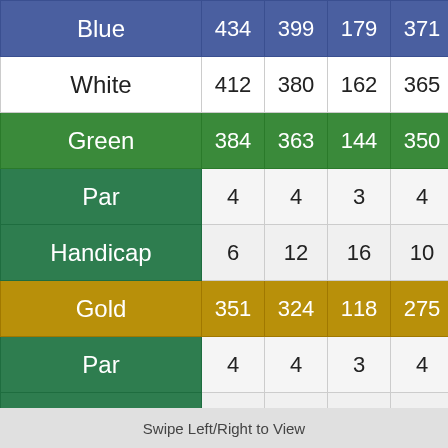|  | Col1 | Col2 | Col3 | Col4 | Col5+ |
| --- | --- | --- | --- | --- | --- |
| Blue | 434 | 399 | 179 | 371 | 500+ |
| White | 412 | 380 | 162 | 365 | 495+ |
| Green | 384 | 363 | 144 | 350 | 450+ |
| Par | 4 | 4 | 3 | 4 | 5 |
| Handicap | 6 | 12 | 16 | 10 | 4 |
| Gold | 351 | 324 | 118 | 275 | 385+ |
| Par | 4 | 4 | 3 | 4 | 4 |
| Handicap | 6 | 12 | 16 | 10 | 4 |
Swipe Left/Right to View